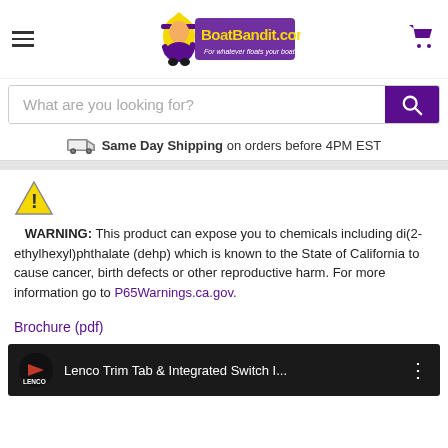[Figure (logo): BoatBandit.com website header with hamburger menu, logo, and cart icon]
What are you looking for?
Same Day Shipping on orders before 4PM EST
WARNING: This product can expose you to chemicals including di(2-ethylhexyl)phthalate (dehp) which is known to the State of California to cause cancer, birth defects or other reproductive harm. For more information go to P65Warnings.ca.gov.
Brochure (pdf)
[Figure (screenshot): Lenco Trim Tab & Integrated Switch video thumbnail]